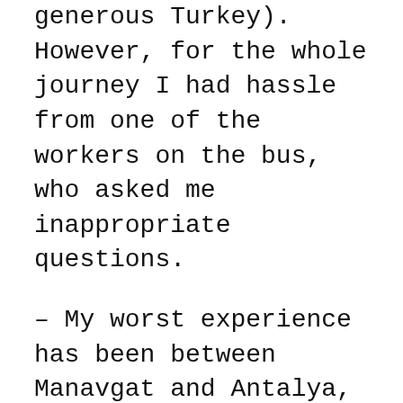generous Turkey). However, for the whole journey I had hassle from one of the workers on the bus, who asked me inappropriate questions.
– My worst experience has been between Manavgat and Antalya, also on the Mediterranean coast. I DID NOT follow my gut instincts, and you should always follow your gut instinct as a hitchhiker. I got in the car because it was getting dark and I wanted to get to Antalya. As it got dark, the man drove me off the motorway down a very dark country road, heading away from Antalya, and saying, 'me and